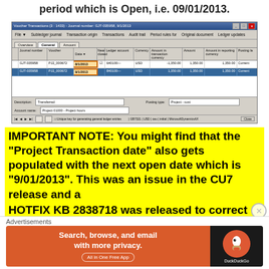period which is Open, i.e. 09/01/2013.
[Figure (screenshot): Microsoft Dynamics AX Voucher Transactions screen showing journal entries with dates 9/1/2013, ledger accounts 640100 and 840100, amounts in USD of -1,350.00 and 1,350.00 respectively. A date cell is highlighted with an orange border.]
IMPORTANT NOTE: You might find that the “Project Transaction date” also gets populated with the next open date which is “9/01/2013”. This was an issue in the CU7 release and a HOTFIX KB 2838718 was released to correct it.
Advertisements
[Figure (screenshot): DuckDuckGo advertisement banner: 'Search, browse, and email with more privacy. All in One Free App' with DuckDuckGo logo on dark background.]